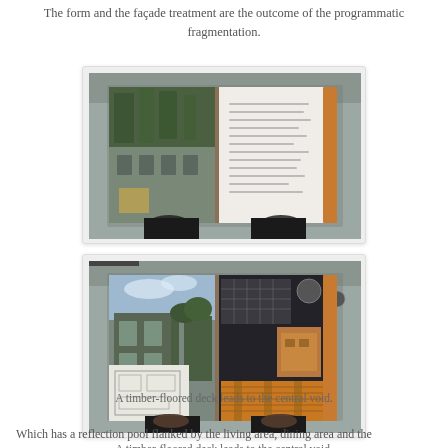The form and the façade treatment are the outcome of the programmatic fragmentation.
[Figure (photo): Person holding open architecture book/magazine showing photos of a building with vegetation and an interior text page, against a grey background]
[Figure (photo): Person holding open architecture book/magazine showing photos of a building exterior with sky, floor plans, and timber/wood detail images, against a grey background]
A timber-floored deck leads to the central void.
Which has a reflection pool flanked by the living area, dining area and the